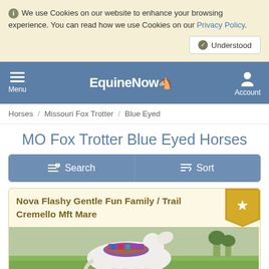We use Cookies on our website to enhance your browsing experience. You can read how we use Cookies on our Privacy Policy.
EquinNow - Menu / Account
Horses / Missouri Fox Trotter / Blue Eyed
MO Fox Trotter Blue Eyed Horses
Search | Sort
Nova Flashy Gentle Fun Family / Trail Cremello Mft Mare
[Figure (photo): A white/cremello horse with a colorful saddle standing in a green grassy field]